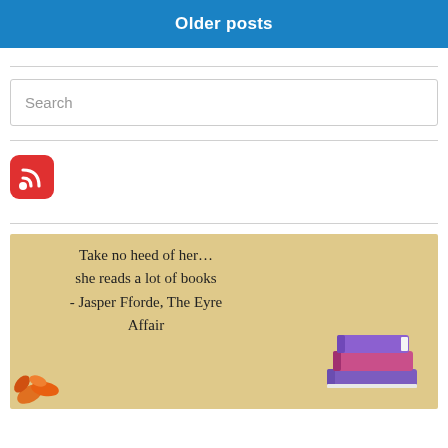Older posts
[Figure (illustration): RSS feed icon — red rounded square with white WiFi/RSS signal symbol]
[Figure (illustration): Decorative quote image on sandy/tan background with text: 'Take no heed of her… she reads a lot of books - Jasper Fforde, The Eyre Affair', with illustrated books and flowers]